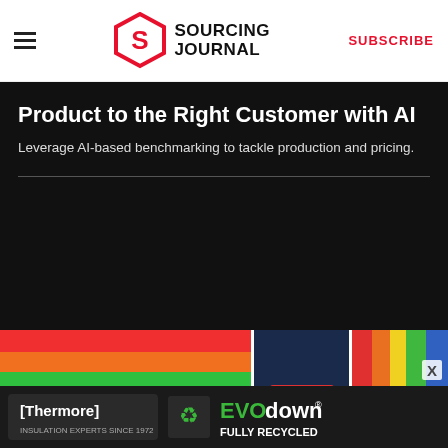Sourcing Journal — SUBSCRIBE
Product to the Right Customer with AI
Leverage AI-based benchmarking to tackle production and pricing.
[Figure (photo): Collage of fashion/textile industry photos: colorful fabrics, shipping containers, thread spools, garment factory workers]
[Figure (photo): Thermore EVO down advertisement — Insulation experts since 1972, Fully Recycled]